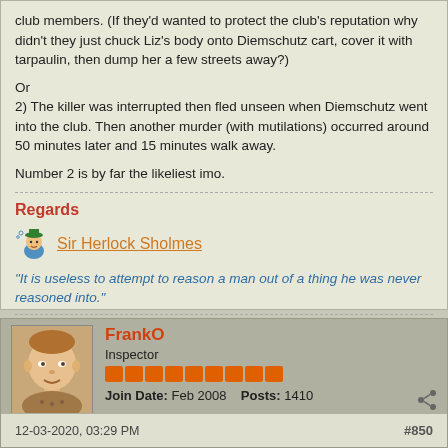club members. (If they'd wanted to protect the club's reputation why didn't they just chuck Liz's body onto Diemschutz cart, cover it with tarpaulin, then dump her a few streets away?)
Or
2) The killer was interrupted then fled unseen when Diemschutz went into the club. Then another murder (with mutilations) occurred around 50 minutes later and 15 minutes walk away.
Number 2 is by far the likeliest imo.
Regards
[Figure (illustration): Small pixel art emoji of a figure with a green hat]
Sir Herlock Sholmes
“It is useless to attempt to reason a man out of a thing he was never reasoned into.”
FrankO
Inspector
Join Date: Feb 2008   Posts: 1410
12-03-2020, 03:29 PM
#850